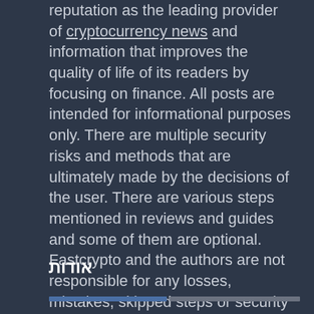reputation as the leading provider of cryptocurrency news and information that improves the quality of life of its readers by focusing on finance. All posts are intended for informational purposes only. There are multiple security risks and methods that are ultimately made by the decisions of the user. There are various steps mentioned in reviews and guides and some of them are optional. Fastcrypto and the authors are not responsible for any losses, mistakes, skipped steps or security measures not taken, as the ultimate decision-making process to do any of these things is solely the reader's responsibility. For good measure always cross-reference guides with other walkthroughs found online or CryptoX and other platforms.
אודות